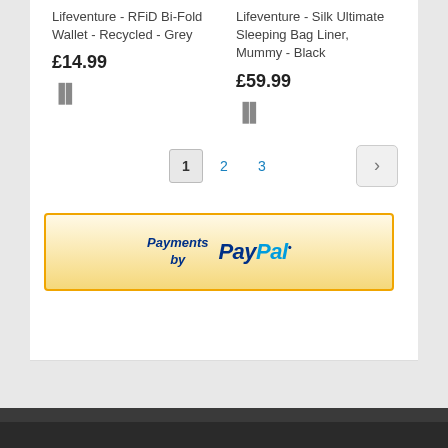Lifeventure - RFiD Bi-Fold Wallet - Recycled - Grey
£14.99
Lifeventure - Silk Ultimate Sleeping Bag Liner, Mummy - Black
£59.99
1 2 3 pagination
[Figure (logo): Payments by PayPal button with gold border and gradient background]